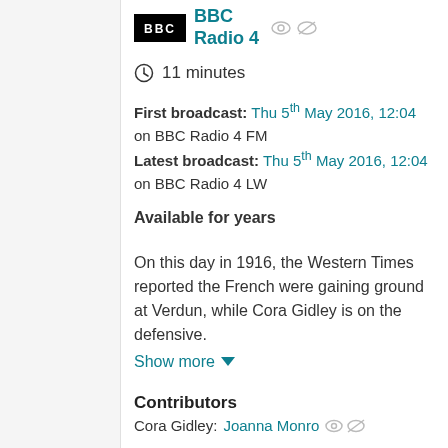[Figure (logo): BBC Radio 4 logo with BBC block logo and teal BBC Radio 4 text, with eye/visibility icons]
11 minutes
First broadcast: Thu 5th May 2016, 12:04 on BBC Radio 4 FM
Latest broadcast: Thu 5th May 2016, 12:04 on BBC Radio 4 LW
Available for years
On this day in 1916, the Western Times reported the French were gaining ground at Verdun, while Cora Gidley is on the defensive.
Show more
Contributors
Cora Gidley: Joanna Monro